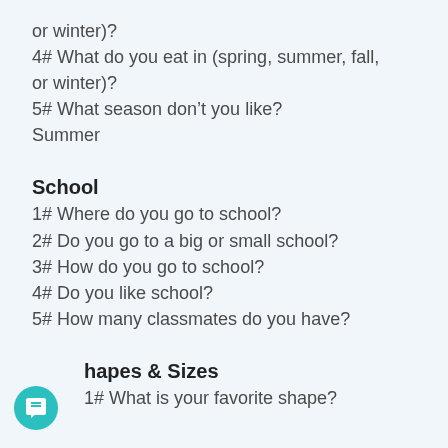or winter)?
4# What do you eat in (spring, summer, fall, or winter)?
5# What season don't you like?
Summer
School
1# Where do you go to school?
2# Do you go to a big or small school?
3# How do you go to school?
4# Do you like school?
5# How many classmates do you have?
Shapes & Sizes
1# What is your favorite shape?